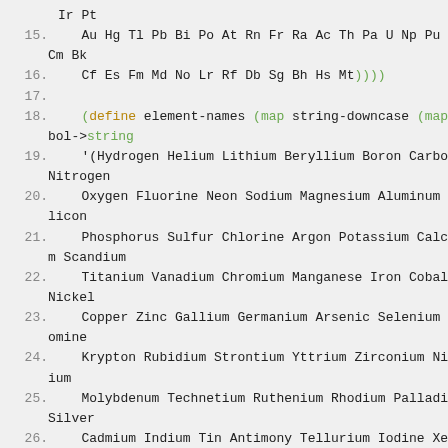Ir Pt
15.  Au Hg Tl Pb Bi Po At Rn Fr Ra Ac Th Pa U Np Pu Am Cm Bk
16.  Cf Es Fm Md No Lr Rf Db Sg Bh Hs Mt))))
17.
18.  (define element-names (map string-downcase (map symbol->string
19.  '(Hydrogen Helium Lithium Beryllium Boron Carbon Nitrogen
20.  Oxygen Fluorine Neon Sodium Magnesium Aluminum Silicon
21.  Phosphorus Sulfur Chlorine Argon Potassium Calcium Scandium
22.  Titanium Vanadium Chromium Manganese Iron Cobalt Nickel
23.  Copper Zinc Gallium Germanium Arsenic Selenium Bromine
24.  Krypton Rubidium Strontium Yttrium Zirconium Niobium
25.  Molybdenum Technetium Ruthenium Rhodium Palladium Silver
26.  Cadmium Indium Tin Antimony Tellurium Iodine Xeno